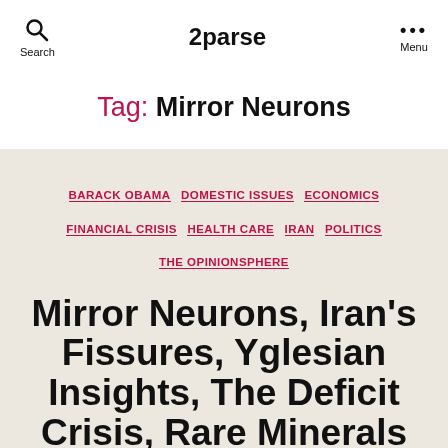2parse
Tag: Mirror Neurons
BARACK OBAMA  DOMESTIC ISSUES  ECONOMICS  FINANCIAL CRISIS  HEALTH CARE  IRAN  POLITICS  THE OPINIONSPHERE
Mirror Neurons, Iran's Fissures, Yglesian Insights, The Deficit Crisis, Rare Minerals